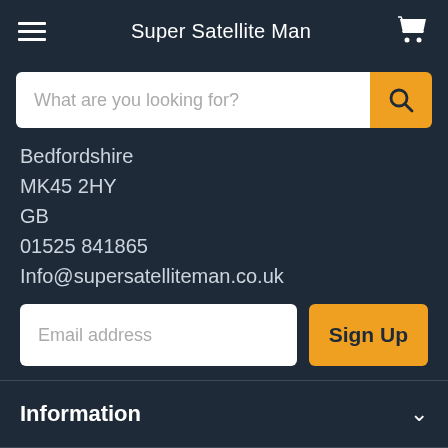Super Satellite Man
[Figure (screenshot): Search bar with placeholder text 'What are you looking for?' and an orange search button with magnifier icon]
Bedfordshire
MK45 2HY
GB
01525 841865
Info@supersatelliteman.co.uk
[Figure (screenshot): Email address input field with orange 'Sign Up' button]
Information
Support